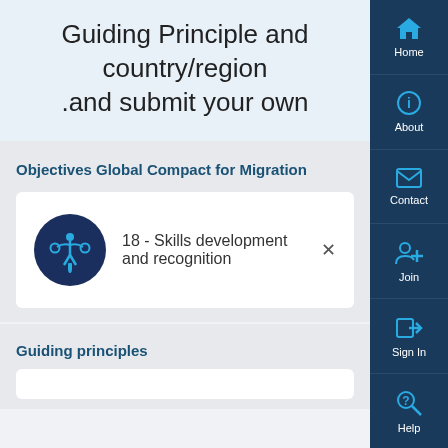Guiding Principle and country/region .and submit your own
Objectives Global Compact for Migration
18 - Skills development and recognition
Guiding principles
[Figure (screenshot): Right-side navigation bar with icons and labels: Home, About, Contact, Join, Sign In, Help]
Home
About
Contact
Join
Sign In
Help